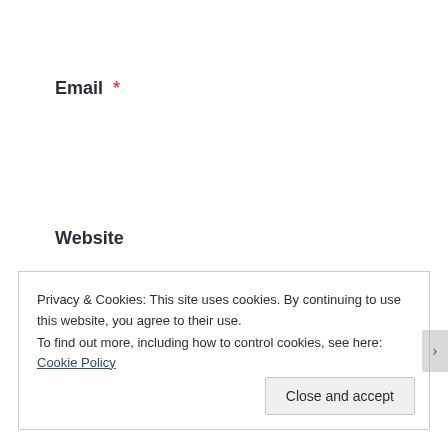Email *
Website
Privacy & Cookies: This site uses cookies. By continuing to use this website, you agree to their use.
To find out more, including how to control cookies, see here: Cookie Policy
Close and accept